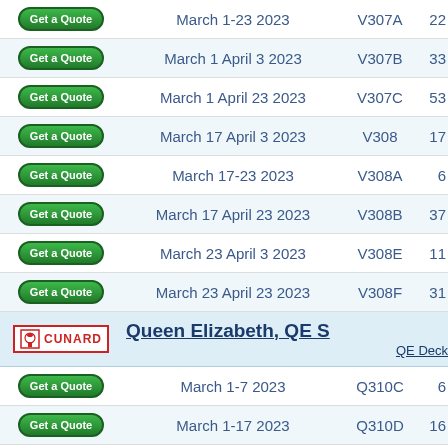|  | Date | Code | # |
| --- | --- | --- | --- |
| Get a Quote | March 1-23 2023 | V307A | 22 |
| Get a Quote | March 1 April 3 2023 | V307B | 33 |
| Get a Quote | March 1 April 23 2023 | V307C | 53 |
| Get a Quote | March 17 April 3 2023 | V308 | 17 |
| Get a Quote | March 17-23 2023 | V308A | 6 |
| Get a Quote | March 17 April 23 2023 | V308B | 37 |
| Get a Quote | March 23 April 3 2023 | V308E | 11 |
| Get a Quote | March 23 April 23 2023 | V308F | 31 |
Queen Elizabeth, QE S — QE Deck
|  | Date | Code | # |
| --- | --- | --- | --- |
| Get a Quote | March 1-7 2023 | Q310C | 6 |
| Get a Quote | March 1-17 2023 | Q310D | 16 |
| Get a Quote | March 7-17 2023 | Q311 | 10 |
Queen Anne, QA Sch
[Figure (logo): Cunard logo with red border]
Contact a Cunard Cruise spec
For detailed information regarding a Cunard Queen Mary 2, Elizabeth QE, Queen Anne QA schedule and bes